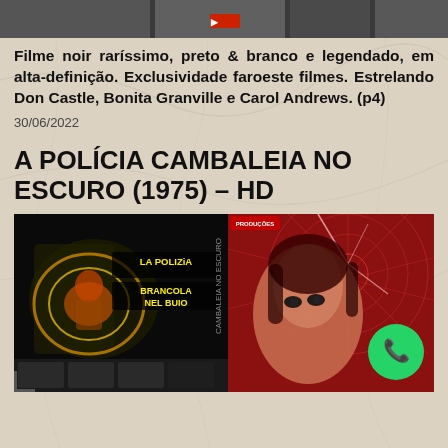[Figure (photo): Partial movie still image strip at top of page]
Filme noir raríssimo, preto & branco e legendado, em alta-definição. Exclusividade faroeste filmes. Estrelando Don Castle, Bonita Granville e Carol Andrews. (p4)
30/06/2022
A POLÍCIA CAMBALEIA NO ESCURO (1975) – HD
[Figure (photo): Movie poster collage: left side shows 'La Polizia Brancola Nel Buio' Italian poster with yellow text on black background and comic-style artwork; right side shows the Portuguese 'Cambaleia No Escuro' poster with a woman's face against a red spider-web background. A green WhatsApp button overlay appears bottom right.]